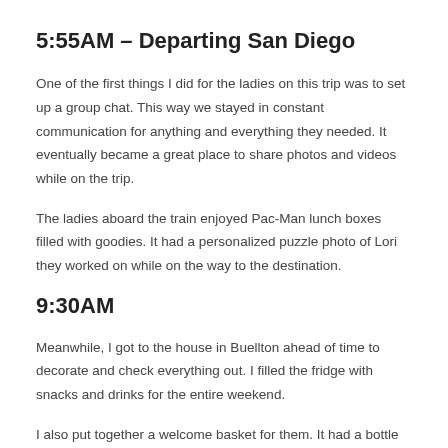5:55AM – Departing San Diego
One of the first things I did for the ladies on this trip was to set up a group chat. This way we stayed in constant communication for anything and everything they needed. It eventually became a great place to share photos and videos while on the trip.
The ladies aboard the train enjoyed Pac-Man lunch boxes filled with goodies. It had a personalized puzzle photo of Lori they worked on while on the way to the destination.
9:30AM
Meanwhile, I got to the house in Buellton ahead of time to decorate and check everything out. I filled the fridge with snacks and drinks for the entire weekend.
I also put together a welcome basket for them. It had a bottle of